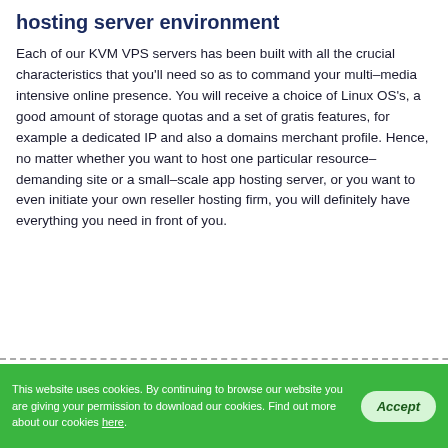hosting server environment
Each of our KVM VPS servers has been built with all the crucial characteristics that you'll need so as to command your multi–media intensive online presence. You will receive a choice of Linux OS's, a good amount of storage quotas and a set of gratis features, for example a dedicated IP and also a domains merchant profile. Hence, no matter whether you want to host one particular resource–demanding site or a small–scale app hosting server, or you want to even initiate your own reseller hosting firm, you will definitely have everything you need in front of you.
[Figure (other): Live Chat bubble widget in bottom-right area]
SSD-based VPS Hosting
This website uses cookies. By continuing to browse our website you are giving your permission to download our cookies. Find out more about our cookies here.